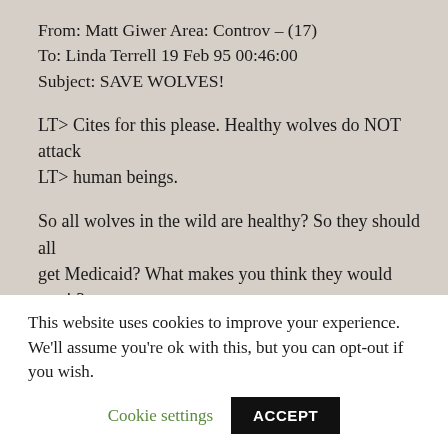From: Matt Giwer Area: Controv – (17)
To: Linda Terrell 19 Feb 95 00:46:00
Subject: SAVE WOLVES!
LT> Cites for this please. Healthy wolves do NOT attack LT> human beings.
So all wolves in the wild are healthy? So they should all get Medicaid? What makes you think they would use it?
We do not taste very good becuase WE are LT> meat eaters. Meat eaters rarely eat meat eaters unless LT> they are desperate.
This website uses cookies to improve your experience. We'll assume you're ok with this, but you can opt-out if you wish.
Cookie settings  ACCEPT